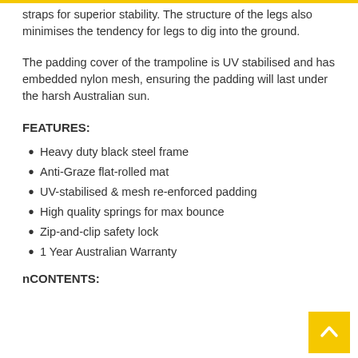straps for superior stability. The structure of the legs also minimises the tendency for legs to dig into the ground.
The padding cover of the trampoline is UV stabilised and has embedded nylon mesh, ensuring the padding will last under the harsh Australian sun.
FEATURES:
Heavy duty black steel frame
Anti-Graze flat-rolled mat
UV-stabilised & mesh re-enforced padding
High quality springs for max bounce
Zip-and-clip safety lock
1 Year Australian Warranty
nCONTENTS: